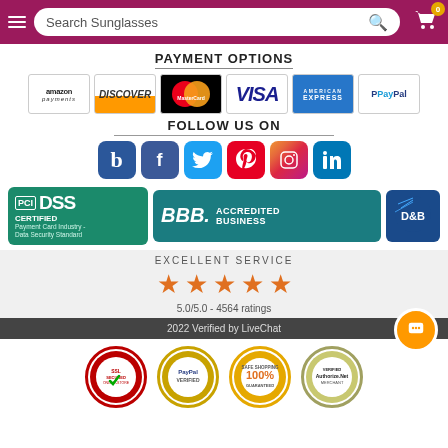Search Sunglasses
PAYMENT OPTIONS
[Figure (logo): Payment logos: Amazon Payments, Discover, MasterCard, Visa, American Express, PayPal]
FOLLOW US ON
[Figure (illustration): Social media icons: Bloglovin, Facebook, Twitter, Pinterest, Instagram, LinkedIn]
[Figure (logo): PCI DSS Certified - Payment Card Industry Data Security Standard badge, BBB Accredited Business badge, D&B badge]
EXCELLENT SERVICE
[Figure (infographic): 5 orange stars rating]
5.0/5.0 - 4564 ratings
2022  Verified by LiveChat
[Figure (logo): Trust badges: SSL Secured Online Store, PayPal Verified, Safe Shopping 100% Guaranteed, Authorize.Net Verified Merchant]